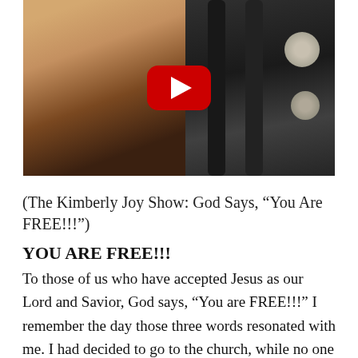[Figure (photo): Video thumbnail screenshot showing a woman looking down near gym/exercise equipment with a YouTube play button overlay in the center.]
(The Kimberly Joy Show: God Says, “You Are FREE!!!”)
YOU ARE FREE!!!
To those of us who have accepted Jesus as our Lord and Savior, God says, “You are FREE!!!” I remember the day those three words resonated with me. I had decided to go to the church, while no one else was present, in